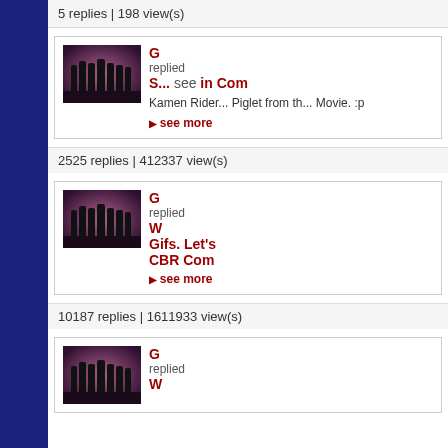5 replies | 198 view(s)
[Figure (photo): Thumbnail image of Kamen Rider characters silhouetted against a purple/pink background]
G
replied
S... see in Com...
Kamen Rider... Piglet from th... Movie. :p
see more
2525 replies | 412337 view(s)
[Figure (photo): Thumbnail image of Kamen Rider characters silhouetted against a purple/pink background]
G
replied
W...
Gifs. Let's... CBR Com...
see more
10187 replies | 1611933 view(s)
[Figure (photo): Thumbnail image of Kamen Rider characters silhouetted against a purple/pink background]
G
replied
W...